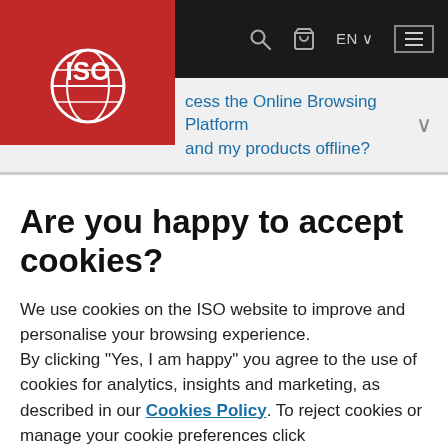[Figure (screenshot): ISO website navigation bar with dark background, search icon, cart icon, EN language selector, and hamburger menu button]
[Figure (logo): ISO logo — white globe with ISO text on red background]
cess the Online Browsing Platform and my products offline?
Are you happy to accept cookies?
We use cookies on the ISO website to improve and personalise your browsing experience.
By clicking "Yes, I am happy" you agree to the use of cookies for analytics, insights and marketing, as described in our Cookies Policy. To reject cookies or manage your cookie preferences click